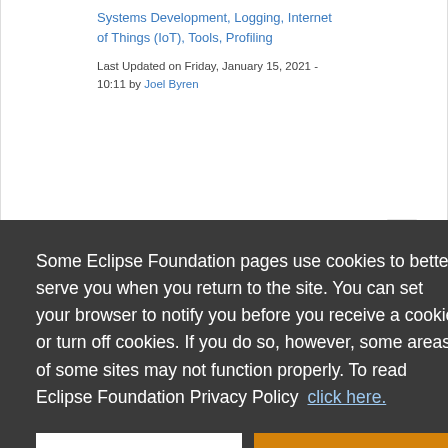Systems Development, Logging, Internet of Things (IoT), Tools, Profiling
Last Updated on Friday, January 15, 2021 - 10:11 by Joel Byren
Some Eclipse Foundation pages use cookies to better serve you when you return to the site. You can set your browser to notify you before you receive a cookie or turn off cookies. If you do so, however, some areas of some sites may not function properly. To read Eclipse Foundation Privacy Policy click here.
Decline
Allow cookies
C-Sky Development Suite